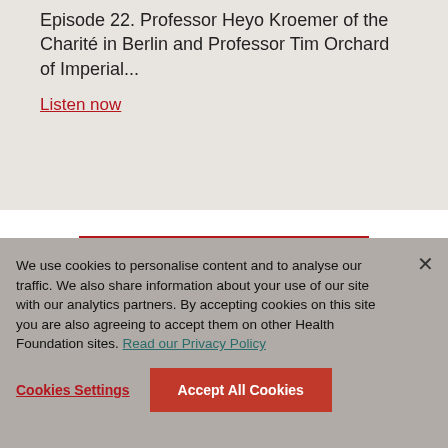Episode 22. Professor Heyo Kroemer of the Charité in Berlin and Professor Tim Orchard of Imperial...
Listen now
View all related content
We use cookies to personalise content and to analyse our traffic. We also share information about your use of our site with our analytics partners. By accepting cookies on this site you are also agreeing to accept them on other Health Foundation sites. Read our Privacy Policy
Cookies Settings
Accept All Cookies